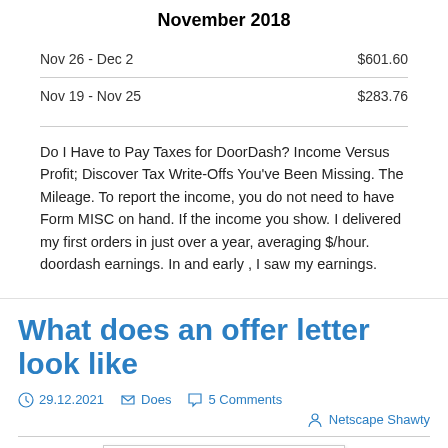November 2018
| Period | Amount |
| --- | --- |
| Nov 26 - Dec 2 | $601.60 |
| Nov 19 - Nov 25 | $283.76 |
Do I Have to Pay Taxes for DoorDash? Income Versus Profit; Discover Tax Write-Offs You've Been Missing. The Mileage. To report the income, you do not need to have Form MISC on hand. If the income you show. I delivered my first orders in just over a year, averaging $/hour. doordash earnings. In and early , I saw my earnings.
What does an offer letter look like
29.12.2021   Does   5 Comments
Netscape Shawty
[Figure (photo): Michigan State University offer letter dated January 14, 2016 addressed to Steven Greene with congratulations and admission details for the College of Engineering.]